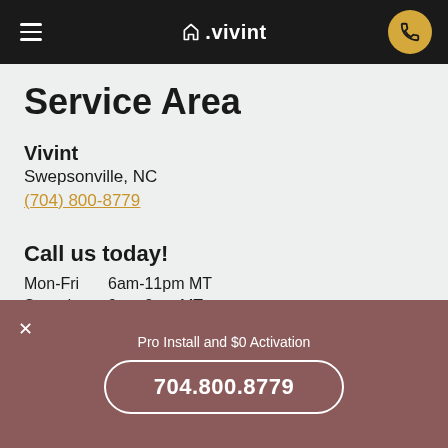vivint
Service Area
Vivint
Swepsonville, NC
(704) 800-8779
Call us today!
Mon-Fri   6am-11pm MT
Saturday  9am-9pm MT
Sunday    7am-9pm MT
Pro Install and $0 Activation
704.800.8779